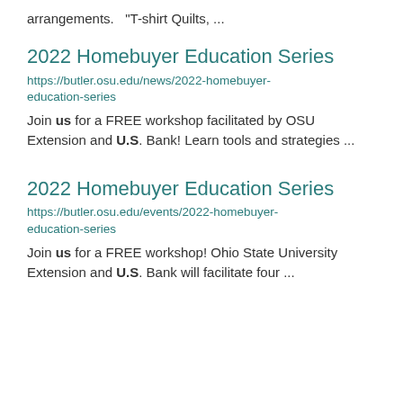arrangements.   "T-shirt Quilts, ...
2022 Homebuyer Education Series
https://butler.osu.edu/news/2022-homebuyer-education-series
Join us for a FREE workshop facilitated by OSU Extension and U.S. Bank! Learn tools and strategies ...
2022 Homebuyer Education Series
https://butler.osu.edu/events/2022-homebuyer-education-series
Join us for a FREE workshop! Ohio State University Extension and U.S. Bank will facilitate four ...